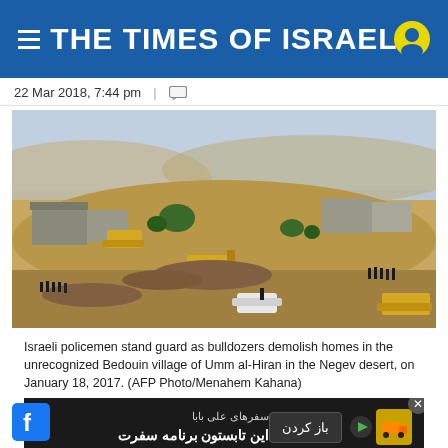THE TIMES OF ISRAEL
22 Mar 2018, 7:44 pm  |
[Figure (photo): Aerial photo of Israeli policemen standing guard as bulldozers demolish homes in the unrecognized Bedouin village of Umm al-Hiran in the Negev desert, on January 18, 2017.]
Israeli policemen stand guard as bulldozers demolish homes in the unrecognized Bedouin village of Umm al-Hiran in the Negev desert, on January 18, 2017. (AFP Photo/Menahem Kahana)
[Figure (screenshot): Advertisement banner in Persian with text: سفرهای علی بابا / این تابستون برنامه سفرت and a button labeled باز کردن]